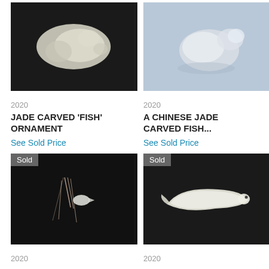[Figure (photo): Jade carved fish ornament on black background]
[Figure (photo): A Chinese jade carved fish on light blue/grey background]
2020
JADE CARVED 'FISH' ORNAMENT
See Sold Price
2020
A CHINESE JADE CARVED FISH...
See Sold Price
[Figure (photo): Sold - jade fish pendant with pink string/tassel on black background. Sold badge visible.]
[Figure (photo): Sold - white jade carved bird on black background. Sold badge visible.]
2020
2020